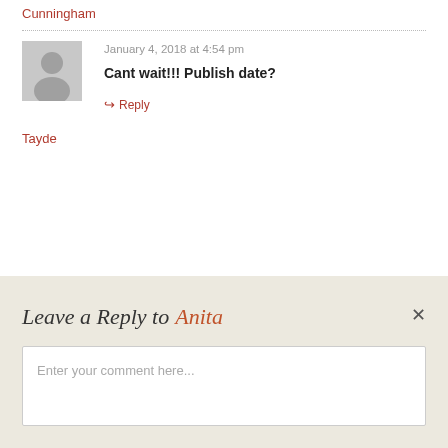Cunningham
January 4, 2018 at 4:54 pm
Cant wait!!! Publish date?
Reply
Tayde
Leave a Reply to Anita
Enter your comment here...